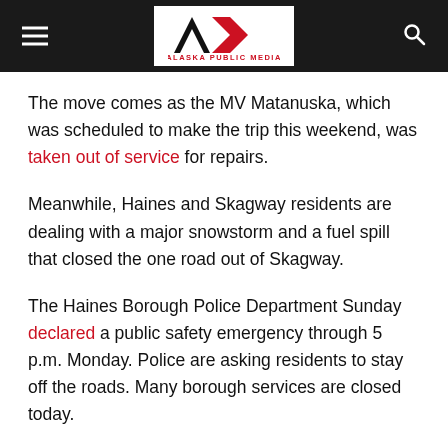Alaska Public Media
The move comes as the MV Matanuska, which was scheduled to make the trip this weekend, was taken out of service for repairs.
Meanwhile, Haines and Skagway residents are dealing with a major snowstorm and a fuel spill that closed the one road out of Skagway.
The Haines Borough Police Department Sunday declared a public safety emergency through 5 p.m. Monday. Police are asking residents to stay off the roads. Many borough services are closed today.
According to the Haines Avalanche Information Center, as of